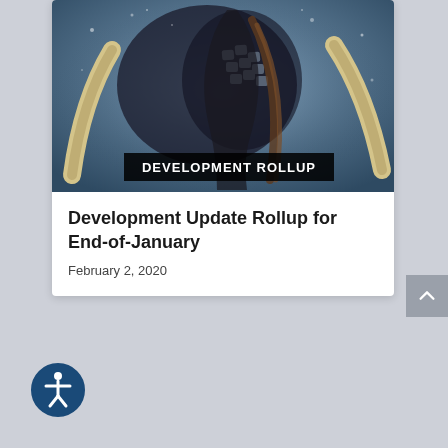[Figure (illustration): Fantasy/game art showing a warrior figure with mammoth tusks on a cold blue background. A black banner with white text reads 'DEVELOPMENT ROLLUP'.]
Development Update Rollup for End-of-January
February 2, 2020
[Figure (logo): Circular accessibility icon (person with arms outstretched) in dark teal/navy blue circle outline.]